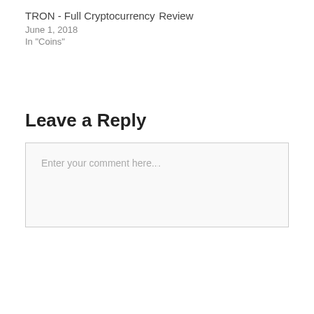TRON - Full Cryptocurrency Review
June 1, 2018
In "Coins"
Leave a Reply
Enter your comment here...